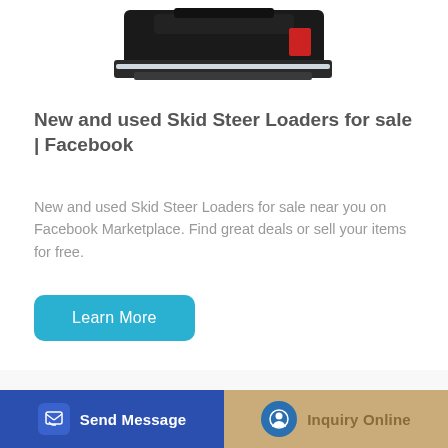[Figure (photo): Photo of a skid steer loader attachment (black bucket/mower) against white background, partially visible at top of page]
New and used Skid Steer Loaders for sale | Facebook
New and used Skid Steer Loaders for sale near you on Facebook Marketplace. Find great deals or sell your items for free.
Learn More
[Figure (photo): Yellow SANY excavator/construction machine partially visible, cropped at bottom of page]
Send Message
Inquiry Online